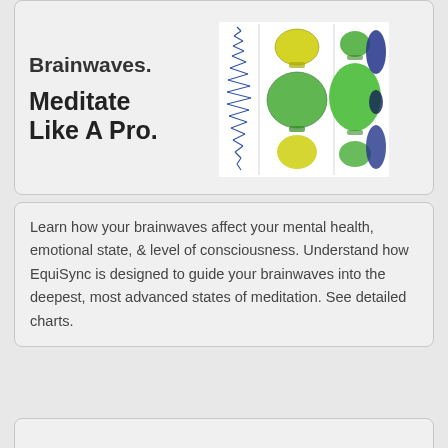[Figure (illustration): Card showing bold text 'Brainwaves.' and 'Meditate Like A Pro.' on the left with colorful violin/hourglass-shaped brainwave visualizations (blue, green, yellow) on the right]
Learn how your brainwaves affect your mental health, emotional state, & level of consciousness. Understand how EquiSync is designed to guide your brainwaves into the deepest, most advanced states of meditation. See detailed charts.
[Figure (illustration): Card showing bold text 'The Next Generation Meditation System' on the left with a collage of blue sound wave and cosmic imagery on the right]
Why is EquiSync better than the rest? How do